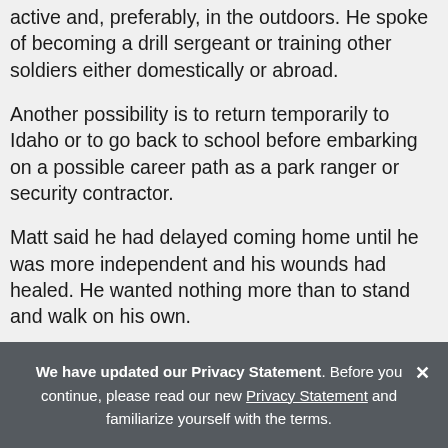active and, preferably, in the outdoors. He spoke of becoming a drill sergeant or training other soldiers either domestically or abroad.
Another possibility is to return temporarily to Idaho or to go back to school before embarking on a possible career path as a park ranger or security contractor.
Matt said he had delayed coming home until he was more independent and his wounds had healed. He wanted nothing more than to stand and walk on his own.
Every day he is becoming stronger. During the process
We have updated our Privacy Statement. Before you continue, please read our new Privacy Statement and familiarize yourself with the terms.